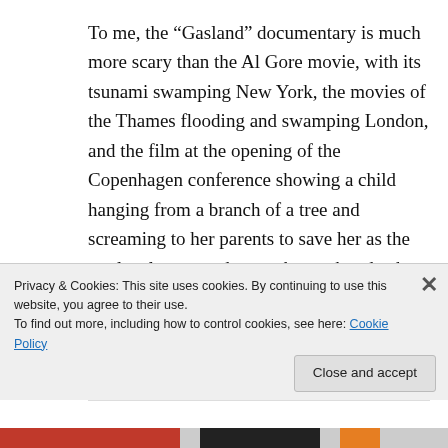To me, the “Gasland” documentary is much more scary than the Al Gore movie, with its tsunami swamping New York, the movies of the Thames flooding and swamping London, and the film at the opening of the Copenhagen conference showing a child hanging from a branch of a tree and screaming to her parents to save her as the sea levels rose and swept he top her death.
Gasland shows the enormous areas of the USA being seriously damaged and polluted by hydro
Privacy & Cookies: This site uses cookies. By continuing to use this website, you agree to their use.
To find out more, including how to control cookies, see here: Cookie Policy
Close and accept